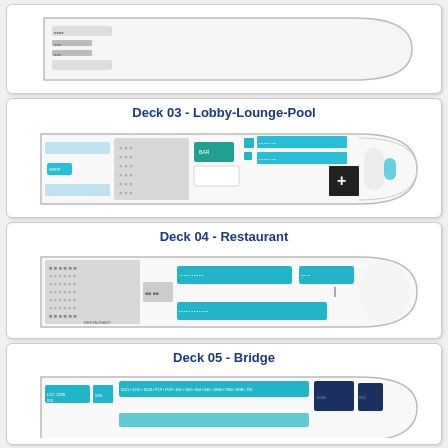[Figure (schematic): Partial top deck plan of a cruise ship, showing the bow section with a pointed front and a few small room/cabin indicators on the left side. Mostly white/light gray interior.]
Deck 03 - Lobby-Lounge-Pool
[Figure (schematic): Deck 03 floor plan labeled Lobby-Lounge-Pool. Shows ship outline with various areas including a pool area with blue tiles, lounge seating with X-pattern chairs, a green/teal bar area, a medical area with a white cross on dark background, and blue seating rows.]
Deck 04 - Restaurant
[Figure (schematic): Deck 04 floor plan labeled Restaurant. Shows ship outline with large dining area featuring X-pattern seating on the left, teal/cyan restaurant tables in rows in the center, and additional seating blocks on the right. Gray utility sections on the sides.]
Deck 05 - Bridge
[Figure (schematic): Deck 05 floor plan labeled Bridge. Partially visible at bottom of page. Shows ship outline with teal cabin blocks on left, rows of teal cabin labels in the center, and dark blue/gray bridge area on the right.]